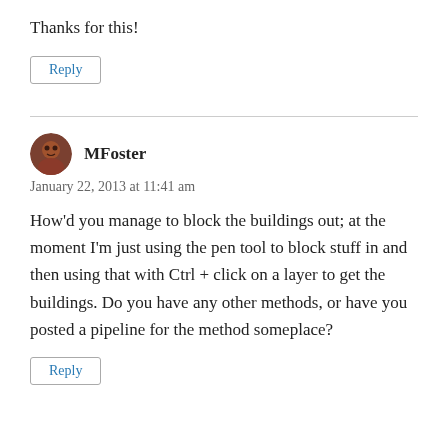Thanks for this!
Reply
MFoster
January 22, 2013 at 11:41 am
How’d you manage to block the buildings out; at the moment I’m just using the pen tool to block stuff in and then using that with Ctrl + click on a layer to get the buildings. Do you have any other methods, or have you posted a pipeline for the method someplace?
Reply